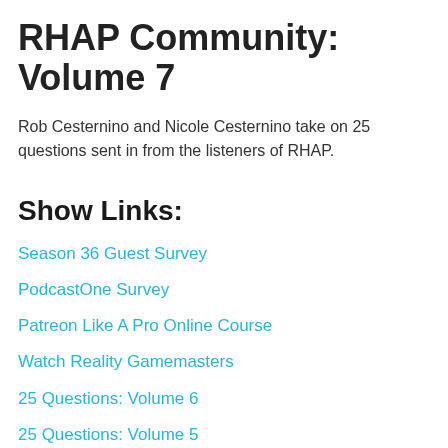RHAP Community: Volume 7
Rob Cesternino and Nicole Cesternino take on 25 questions sent in from the listeners of RHAP.
Show Links:
Season 36 Guest Survey
PodcastOne Survey
Patreon Like A Pro Online Course
Watch Reality Gamemasters
25 Questions: Volume 6
25 Questions: Volume 5
25 Questions: Volume 4